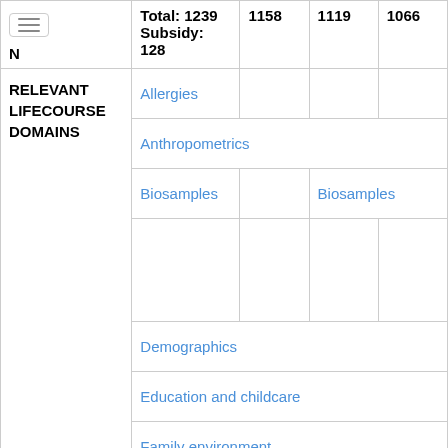|  | Total: 1239 Subsidy: 128 | 1158 | 1119 | 1066 |
| --- | --- | --- | --- | --- |
| N | 128 | 1158 | 1119 | 1066 |
| RELEVANT LIFECOURSE DOMAINS | Allergies |  |  |  |
|  | Anthropometrics |  |  |  |
|  | Biosamples |  | Biosamples |  |
|  |  |  |  |  |
|  | Demographics |  |  |  |
|  | Education and childcare |  |  |  |
|  | Family environment |  |  |  |